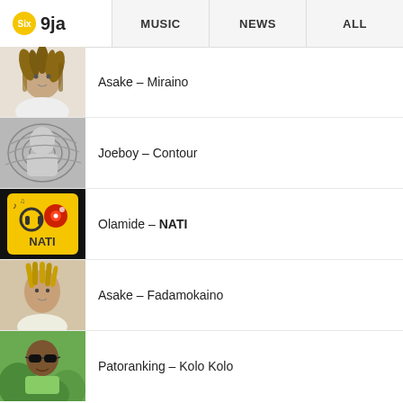Six 9ja | MUSIC | NEWS | ALL
Asake – Miraino
Joeboy – Contour
Olamide – NATI
Asake – Fadamokaino
Patoranking – Kolo Kolo